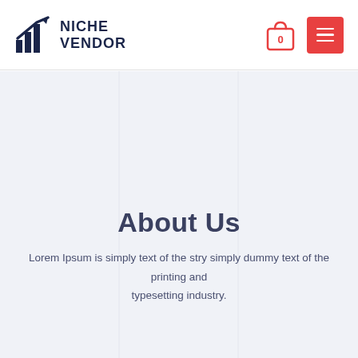NICHE VENDOR
About Us
Lorem Ipsum is simply text of the stry simply dummy text of the printing and typesetting industry.